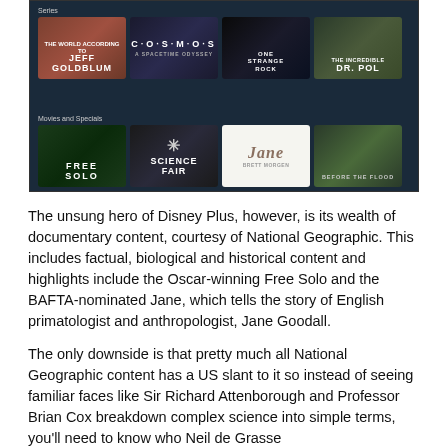[Figure (screenshot): Disney Plus / National Geographic streaming interface showing two rows of content thumbnails. Row 1 (Series): The World According to Jeff Goldblum, Cosmos, One Strange Rock, The Incredible Dr. Pol. Row 2 (Movies and Specials): Free Solo, Science Fair, Jane (with Brett Morgen), Before the Flood.]
The unsung hero of Disney Plus, however, is its wealth of documentary content, courtesy of National Geographic. This includes factual, biological and historical content and highlights include the Oscar-winning Free Solo and the BAFTA-nominated Jane, which tells the story of English primatologist and anthropologist, Jane Goodall.
The only downside is that pretty much all National Geographic content has a US slant to it so instead of seeing familiar faces like Sir Richard Attenborough and Professor Brian Cox breakdown complex science into simple terms, you'll need to know who Neil de Grasse